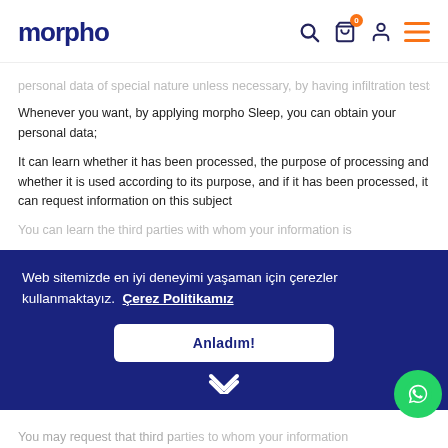morpho
personal data of special nature unless necessary, by having infiltration tests, logging your data, and backing up data. we provide security.
Whenever you want, by applying morpho Sleep, you can obtain your personal data;
It can learn whether it has been processed, the purpose of processing and whether it is used according to its purpose, and if it has been processed, it can request information on this subject
You can learn the third parties with whom your information is
Web sitemizde en iyi deneyimi yaşaman için çerezler kullanmaktayız. Çerez Politikamız
Anladım!
You may request that third parties to whom your information